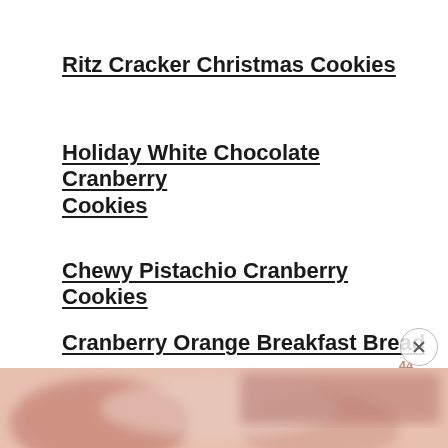Ritz Cracker Christmas Cookies
Holiday White Chocolate Cranberry Cookies
Chewy Pistachio Cranberry Cookies
Cranberry Orange Breakfast Bread
What are you waiting for? Let's bake this Chocolate Peppermint Bundt Cake!
[Figure (photo): Blurred food photo at the bottom of the page, pinkish tones suggesting a baked good]